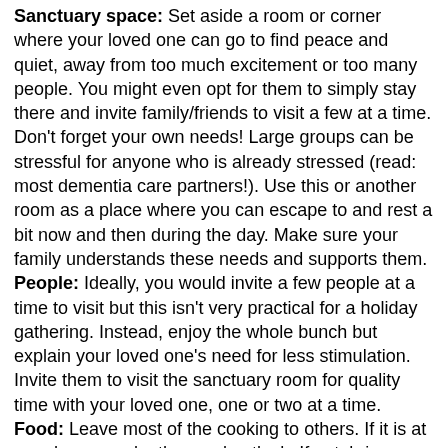Sanctuary space: Set aside a room or corner where your loved one can go to find peace and quiet, away from too much excitement or too many people. You might even opt for them to simply stay there and invite family/friends to visit a few at a time. Don't forget your own needs! Large groups can be stressful for anyone who is already stressed (read: most dementia care partners!). Use this or another room as a place where you can escape to and rest a bit now and then during the day. Make sure your family understands these needs and supports them.
People: Ideally, you would invite a few people at a time to visit but this isn't very practical for a holiday gathering. Instead, enjoy the whole bunch but explain your loved one's need for less stimulation. Invite them to visit the sanctuary room for quality time with your loved one, one or two at a time.
Food: Leave most of the cooking to others. If it is at your home, make the meal potluck. If not, bring something easy to fix...or store bought.
Thanksgiving is a time for thinking of all the things and people we have to be grateful for. It is also a time to gather